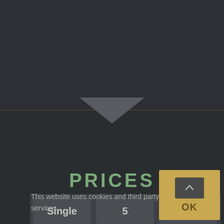[Figure (screenshot): Dark-themed website section showing a downward-pointing triangle chevron separator above a 'PRICES' heading, with three price tier cards (Single, 5, 10) partially visible at bottom, and a cookie consent banner overlay.]
PRICES
Single
5
10
This website uses cookies and third party services.
OK